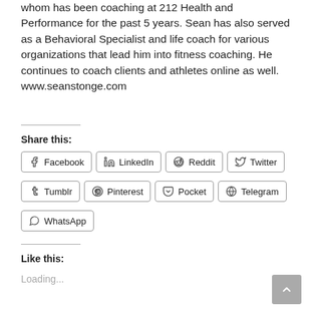whom has been coaching at 212 Health and Performance for the past 5 years. Sean has also served as a Behavioral Specialist and life coach for various organizations that lead him into fitness coaching. He continues to coach clients and athletes online as well. www.seanstonge.com
Share this:
Facebook
LinkedIn
Reddit
Twitter
Tumblr
Pinterest
Pocket
Telegram
WhatsApp
Like this:
Loading...